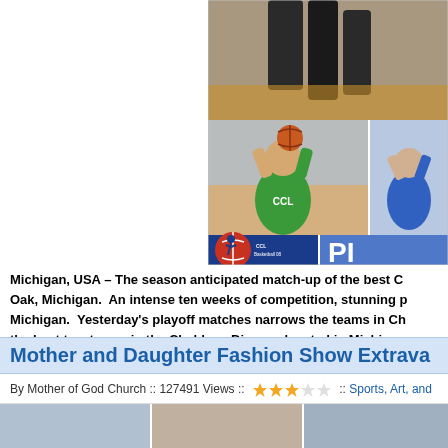[Figure (photo): Basketball game photo collage showing players in action, including a player in green jersey holding a ball, and a basketball league logo/overlay at bottom]
Michigan, USA – The season anticipated match-up of the best Ch Oak, Michigan. An intense ten weeks of competition, stunning p Michigan. Yesterday's playoff matches narrows the teams in Ch the best two teams in the Chaldean Diocese located in Michiga brought together the best Chaldean basketball talent under the
Read More..
Mother and Daughter Fashion Show Extrava
By Mother of God Church :: 127491 Views :: :: Sports, Art, and